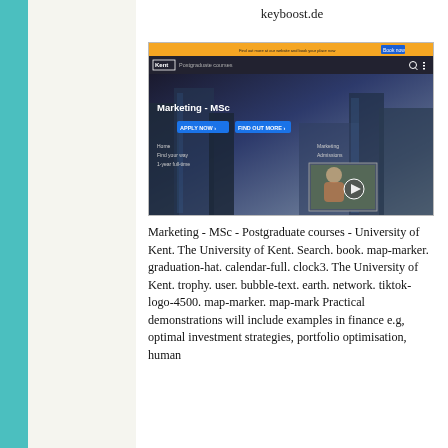keyboost.de
[Figure (screenshot): Screenshot of University of Kent Marketing MSc postgraduate course webpage, showing a hero image with city buildings, 'Marketing - MSc' title, Apply Now and Find Out More buttons, and a video thumbnail overlay.]
Marketing - MSc - Postgraduate courses - University of Kent. The University of Kent. Search. book. map-marker. graduation-hat. calendar-full. clock3. The University of Kent. trophy. user. bubble-text. earth. network. tiktok-logo-4500. map-marker. map-mark Practical demonstrations will include examples in finance e.g, optimal investment strategies, portfolio optimisation, human